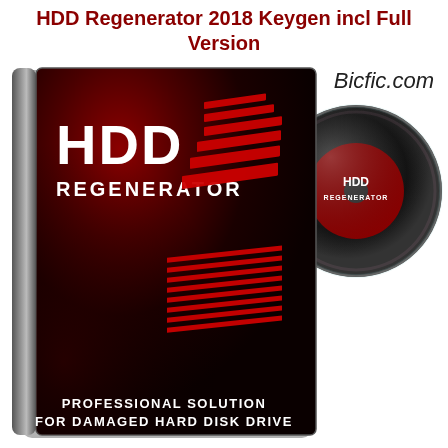HDD Regenerator 2018 Keygen incl Full Version
[Figure (illustration): HDD Regenerator software box (CD case) with dark background and red gradient design showing 'HDD REGENERATOR' text and red diagonal stripes, plus a CD disc visible behind the case. Text on case reads 'PROFESSIONAL SOLUTION FOR DAMAGED HARD DISK DRIVE'. Bicfic.com watermark visible.]